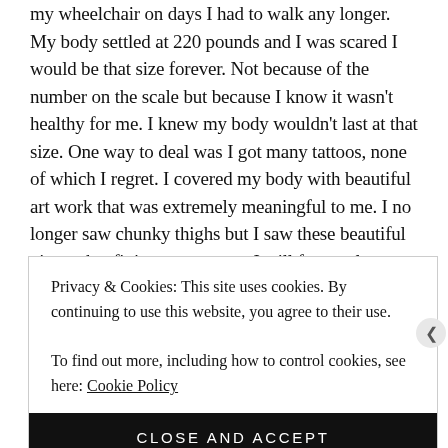my wheelchair on days I had to walk any longer. My body settled at 220 pounds and I was scared I would be that size forever. Not because of the number on the scale but because I know it wasn't healthy for me. I knew my body wouldn't last at that size. One way to deal was I got many tattoos, none of which I regret. I covered my body with beautiful art work that was extremely meaningful to me. I no longer saw chunky thighs but I saw these beautiful pieces that fit into my curves. I will forever love my ink.
Privacy & Cookies: This site uses cookies. By continuing to use this website, you agree to their use.
To find out more, including how to control cookies, see here: Cookie Policy
CLOSE AND ACCEPT